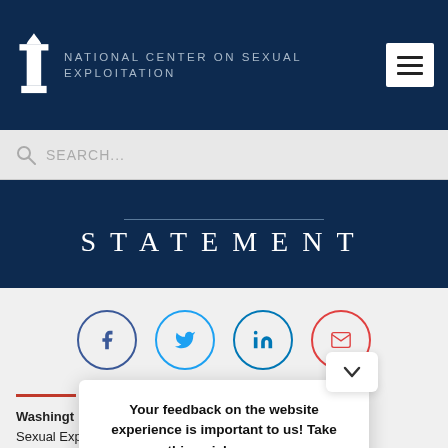NATIONAL CENTER ON SEXUAL EXPLOITATION
SEARCH...
STATEMENT
[Figure (infographic): Four social sharing buttons in circles: Facebook (dark blue), Twitter (light blue), LinkedIn (blue), Email (red)]
Your feedback on the website experience is important to us! Take this quick survey.
Washington ... ter on Sexual Exp... Mets for its decisi... xually